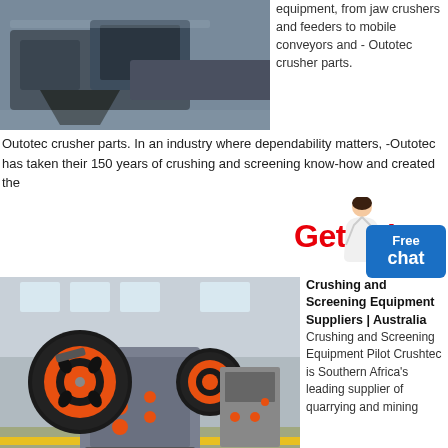[Figure (photo): Industrial crusher/conveyor machinery in a factory setting, dark grey equipment]
equipment, from jaw crushers and feeders to mobile conveyors and - Outotec crusher parts. In an industry where dependability matters, -Outotec has taken their 150 years of crushing and screening know-how and created the
Get Price
[Figure (photo): Large jaw crusher with orange and black flywheels on white aggregate material in a factory]
Crushing and Screening Equipment Suppliers | Australia
Crushing and Screening Equipment Pilot Crushtec is Southern Africa's leading supplier of quarrying and mining
equipment and was founded in 1990. Wastech is the exclusive distributor of all